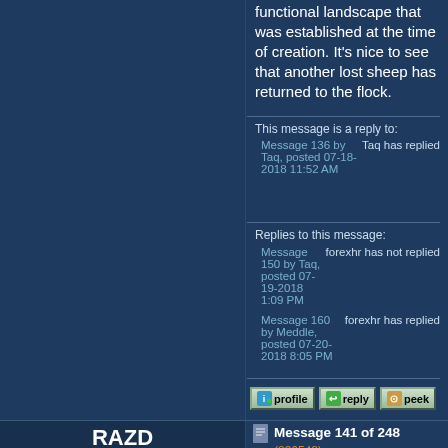functional landscape that was established at the time of creation. It's nice to see that another lost sheep has returned to the flock.
This message is a reply to:
Message 136 by Taq, posted 07-18-2018 11:52 AM
Taq has replied
Replies to this message:
Message 150 by Taq, posted 07-19-2018 1:09 PM
forexhr has not replied
Message 160 by Meddle, posted 07-20-2018 8:05 PM
forexhr has replied
RAZD
Member (Idle past 745 days)
Message 141 of 248 (836548)
07-19-2018 8:15 AM
Reply to: Message 134 by forexhr
07-18-2018 2:57 AM
Wrong again
... But this idea, hypothesis or belief is exactly what I have disproved in the article by showing empirically and mathematically that this couldn't have